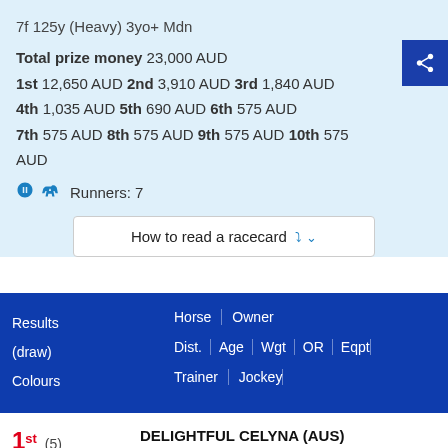7f 125y (Heavy) 3yo+ Mdn
Total prize money 23,000 AUD
1st 12,650 AUD 2nd 3,910 AUD 3rd 1,840 AUD
4th 1,035 AUD 5th 690 AUD 6th 575 AUD
7th 575 AUD 8th 575 AUD 9th 575 AUD 10th 575 AUD
Runners: 7
How to read a racecard
| Results (draw) Colours | Horse | Owner | Dist. | Age | Wgt | OR | Eqpt | Trainer | Jockey |
| --- | --- | --- | --- |
| 1st (5) | DELIGHTFUL CELYNA (AUS) | A Dedrandi, C Sexton & R Jones |  |
1st (5)
DELIGHTFUL CELYNA (AUS)
A Dedrandi, C Sexton & R Jones